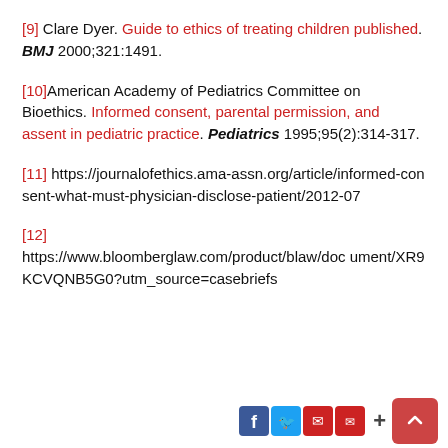[9] Clare Dyer. Guide to ethics of treating children published. BMJ 2000;321:1491.
[10] American Academy of Pediatrics Committee on Bioethics. Informed consent, parental permission, and assent in pediatric practice. Pediatrics 1995;95(2):314-317.
[11] https://journalofethics.ama-assn.org/article/informed-consent-what-must-physician-disclose-patient/2012-07
[12] https://www.bloomberglaw.com/product/blaw/document/XR9KCVQNB5G0?utm_source=casebriefs